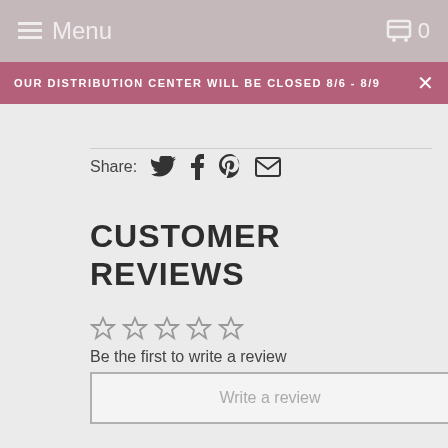Menu  0
OUR DISTRIBUTION CENTER WILL BE CLOSED 8/6 - 8/9 ✕
Share:
CUSTOMER REVIEWS
Be the first to write a review
Write a review